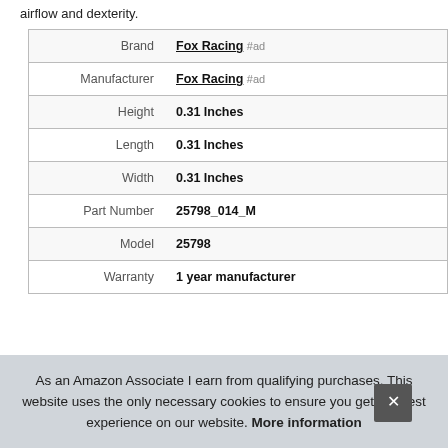airflow and dexterity.
|  |  |
| --- | --- |
| Brand | Fox Racing #ad |
| Manufacturer | Fox Racing #ad |
| Height | 0.31 Inches |
| Length | 0.31 Inches |
| Width | 0.31 Inches |
| Part Number | 25798_014_M |
| Model | 25798 |
| Warranty | 1 year manufacturer |
As an Amazon Associate I earn from qualifying purchases. This website uses the only necessary cookies to ensure you get the best experience on our website. More information